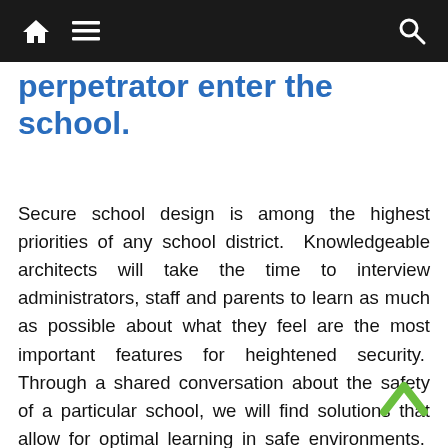Navigation bar with home, menu, and search icons
perpetrator enter the school.
Secure school design is among the highest priorities of any school district.  Knowledgeable architects will take the time to interview administrators, staff and parents to learn as much as possible about what they feel are the most important features for heightened security.  Through a shared conversation about the safety of a particular school, we will find solutions that allow for optimal learning in safe environments.  The role of the architect in secure school design is to enable security solutions to be at their most effective, without making a school look and feel like a cold, unwelcoming fortress.  Children are our most precious resource and their education is our future.  Let's keep them safe, let's keep them engaged and let's keep the conversation moving forward.